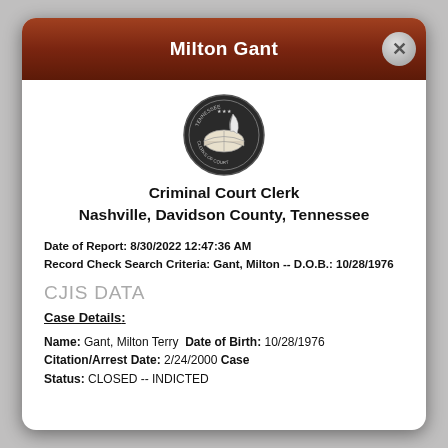Milton Gant
[Figure (logo): Tennessee Clerks of Court circular seal/logo with book and quill pen]
Criminal Court Clerk
Nashville, Davidson County, Tennessee
Date of Report: 8/30/2022 12:47:36 AM
Record Check Search Criteria: Gant, Milton -- D.O.B.: 10/28/1976
CJIS DATA
Case Details:
Name: Gant, Milton Terry  Date of Birth: 10/28/1976  Citation/Arrest Date: 2/24/2000  Case Status: CLOSED -- INDICTED